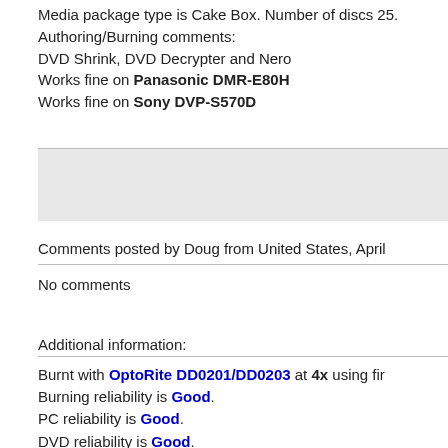Media package type is Cake Box. Number of discs 25.
Authoring/Burning comments:
DVD Shrink, DVD Decrypter and Nero
Works fine on Panasonic DMR-E80H
Works fine on Sony DVP-S570D
Comments posted by Doug from United States, April
No comments
Additional information:
Burnt with OptoRite DD0201/DD0203 at 4x using fir
Burning reliability is Good.
PC reliability is Good.
DVD reliability is Good.
Media color is Purple.
Media text is Memorex 4x DVDR4.7 DVD-R Recordab
Minute Video.